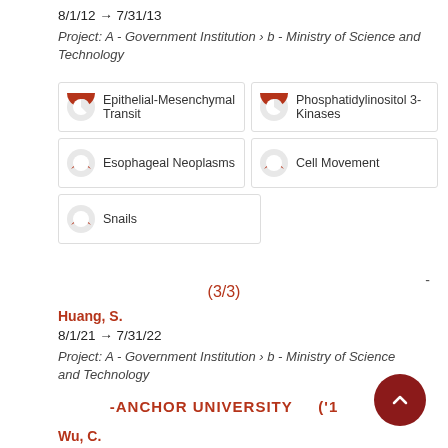8/1/12 → 7/31/13
Project: A - Government Institution › b - Ministry of Science and Technology
Epithelial-Mesenchymal Transit
Phosphatidylinositol 3-Kinases
Esophageal Neoplasms
Cell Movement
Snails
(3/3)
Huang, S.
8/1/21 → 7/31/22
Project: A - Government Institution › b - Ministry of Science and Technology
-ANCHOR UNIVERSITY    ('1
Wu, C.